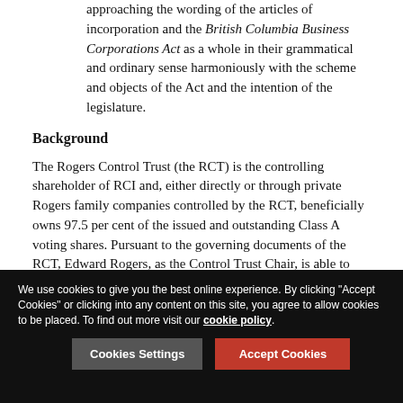The court adopted a largely black-letter analysis, approaching the wording of the articles of incorporation and the British Columbia Business Corporations Act as a whole in their grammatical and ordinary sense harmoniously with the scheme and objects of the Act and the intention of the legislature.
Background
The Rogers Control Trust (the RCT) is the controlling shareholder of RCI and, either directly or through private Rogers family companies controlled by the RCT, beneficially owns 97.5 per cent of the issued and outstanding Class A voting shares. Pursuant to the governing documents of the RCT, Edward Rogers, as the Control Trust Chair, is able to direct the voting of the RCT's Class A voting shares at his discretion, unless the RCT advisory committee acts to constrain or replace him with a two-thirds vote by the
We use cookies to give you the best online experience. By clicking "Accept Cookies" or clicking into any content on this site, you agree to allow cookies to be placed. To find out more visit our cookie policy.